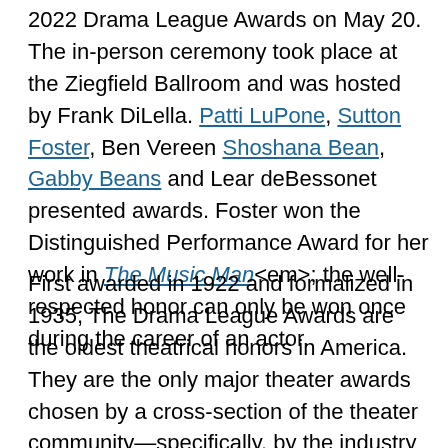2022 Drama League Awards on May 20. The in-person ceremony took place at the Ziegfield Ballroom and was hosted by Frank DiLella. Patti LuPone, Sutton Foster, Ben Vereen Shoshana Bean, Gabby Beans and Lear deBessonet presented awards. Foster won the Distinguished Performance Award for her work in The Music Man<em>; the well-respected honor can only be won once during the career of an actor.
First awarded in 1922 and formalized in 1935, The Drama League Awards are the oldest theatrical honors in America. They are the only major theater awards chosen by a cross-section of the theater community—specifically, by the industry professionals, producers, artists, audiences and critics who are Drama League members nationwide. This year's ceremony will see the inaugural nominees in two new categories: Outstanding Direction of a Play and Outstanding